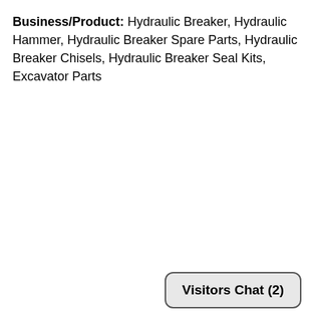Business/Product: Hydraulic Breaker, Hydraulic Hammer, Hydraulic Breaker Spare Parts, Hydraulic Breaker Chisels, Hydraulic Breaker Seal Kits, Excavator Parts
Visitors Chat (2)